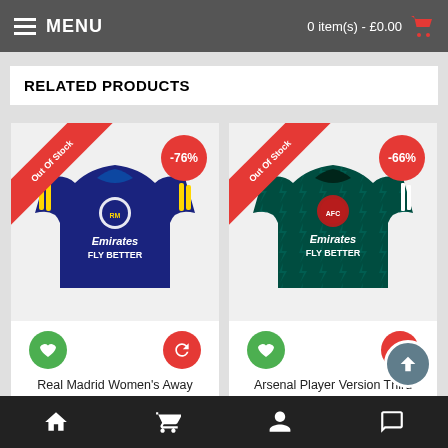MENU | 0 item(s) - £0.00
RELATED PRODUCTS
[Figure (photo): Real Madrid Women's Away Jersey 21/22 (blue jersey with Emirates FLY BETTER logo), Out Of Stock ribbon, -76% discount badge, heart and refresh action buttons]
Real Madrid Women's Away Jersey 21/22 (Customizable)
£86.99  £20.99
[Figure (photo): Arsenal Player Version Third Jersey 21/22 (dark teal/black patterned jersey with Emirates FLY BETTER logo), Out Of Stock ribbon, -66% discount badge, heart and refresh action buttons]
Arsenal Player Version Third Jersey 21/22 (Customizable)
£86.99  £29.88
Home | Cart | Account | Chat